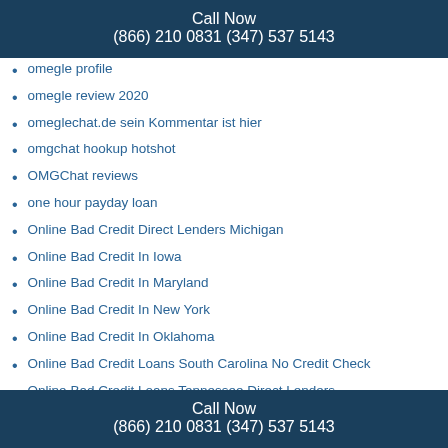Call Now
(866) 210 0831 (347) 537 5143
omegle profile
omegle review 2020
omeglechat.de sein Kommentar ist hier
omgchat hookup hotshot
OMGChat reviews
one hour payday loan
Online Bad Credit Direct Lenders Michigan
Online Bad Credit In Iowa
Online Bad Credit In Maryland
Online Bad Credit In New York
Online Bad Credit In Oklahoma
Online Bad Credit Loans South Carolina No Credit Check
Online Bad Credit Loans Tennessee Direct Lenders
Online Bad Credit Loans Texas Direct Lenders
Online Bad Credit Nebraska Direct Lenders
Online Bad Credit New Hampshire Residents
Call Now
(866) 210 0831 (347) 537 5143